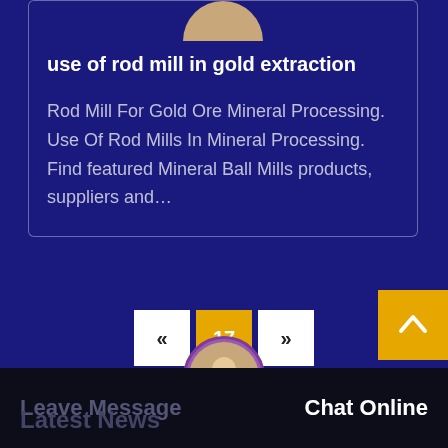use of rod mill in gold extraction
Rod Mill For Gold Ore Mineral Processing. Use Of Rod Mills In Mineral Processing. Find featured Mineral Ball Mills products, suppliers and…
[Figure (other): Pagination controls: previous («), current page 17 (highlighted in orange), next (»)]
[Figure (other): Scroll-to-top button (yellow/orange square with upward chevron arrow)]
Leave Message   Chat Online